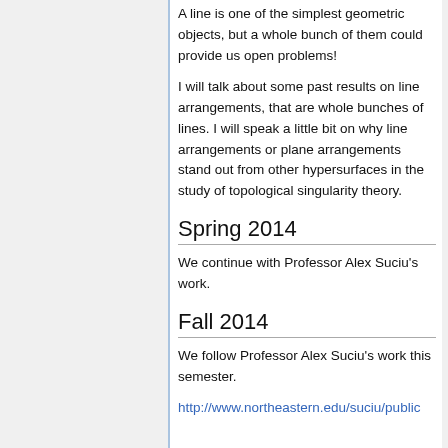A line is one of the simplest geometric objects, but a whole bunch of them could provide us open problems!
I will talk about some past results on line arrangements, that are whole bunches of lines. I will speak a little bit on why line arrangements or plane arrangements stand out from other hypersurfaces in the study of topological singularity theory.
Spring 2014
We continue with Professor Alex Suciu's work.
Fall 2014
We follow Professor Alex Suciu's work this semester.
http://www.northeastern.edu/suciu/public